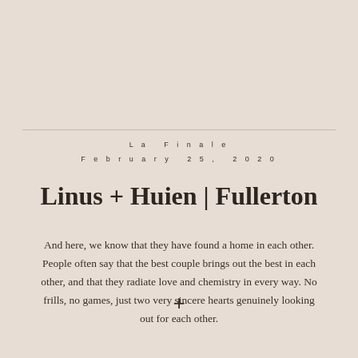La Finale
February 25, 2020
Linus + Huien | Fullerton
And here, we know that they have found a home in each other. People often say that the best couple brings out the best in each other, and that they radiate love and chemistry in every way. No frills, no games, just two very sincere hearts genuinely looking out for each other.
+